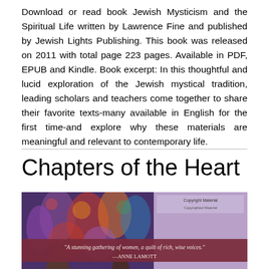Download or read book Jewish Mysticism and the Spiritual Life written by Lawrence Fine and published by Jewish Lights Publishing. This book was released on 2011 with total page 223 pages. Available in PDF, EPUB and Kindle. Book excerpt: In this thoughtful and lucid exploration of the Jewish mystical tradition, leading scholars and teachers come together to share their favorite texts-many available in English for the first time-and explore why these materials are meaningful and relevant to contemporary life.
Chapters of the Heart
[Figure (illustration): Book cover of 'Chapters of the Heart' showing colorful figures and a quote from Anne Lamott: 'A stunning gathering of women, a quilt of rich, wise voices.' —ANNE LAMOTT]